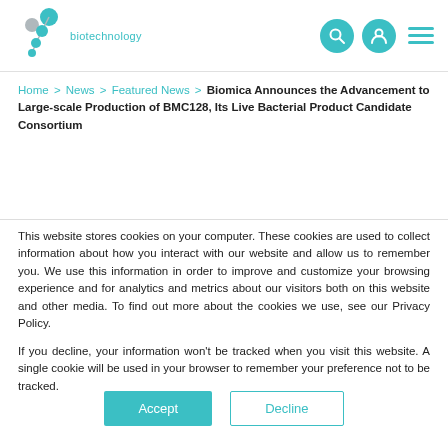biotechnology [logo with nav icons]
Home > News > Featured News > Biomica Announces the Advancement to Large-scale Production of BMC128, Its Live Bacterial Product Candidate Consortium
This website stores cookies on your computer. These cookies are used to collect information about how you interact with our website and allow us to remember you. We use this information in order to improve and customize your browsing experience and for analytics and metrics about our visitors both on this website and other media. To find out more about the cookies we use, see our Privacy Policy.
If you decline, your information won't be tracked when you visit this website. A single cookie will be used in your browser to remember your preference not to be tracked.